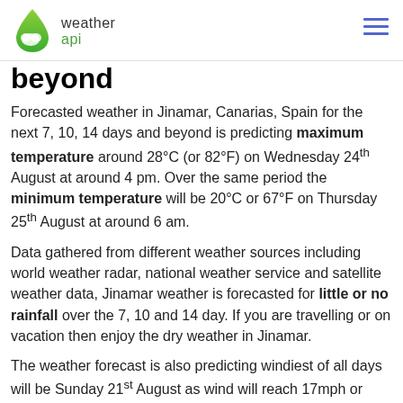weather api
beyond
Forecasted weather in Jinamar, Canarias, Spain for the next 7, 10, 14 days and beyond is predicting maximum temperature around 28°C (or 82°F) on Wednesday 24th August at around 4 pm. Over the same period the minimum temperature will be 20°C or 67°F on Thursday 25th August at around 6 am.
Data gathered from different weather sources including world weather radar, national weather service and satellite weather data, Jinamar weather is forecasted for little or no rainfall over the 7, 10 and 14 day. If you are travelling or on vacation then enjoy the dry weather in Jinamar.
The weather forecast is also predicting windiest of all days will be Sunday 21st August as wind will reach 17mph or 28kmph at around 6 pm.